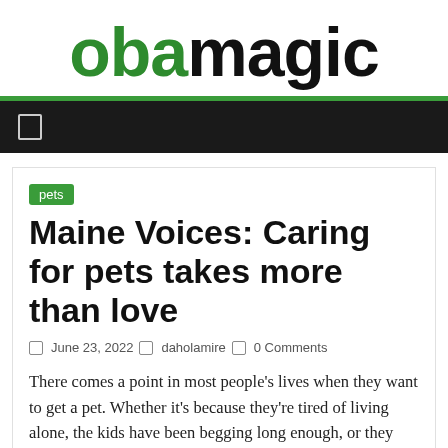obamagic
pets
Maine Voices: Caring for pets takes more than love
June 23, 2022  daholamire  0 Comments
There comes a point in most people's lives when they want to get a pet. Whether it's because they're tired of living alone, the kids have been begging long enough, or they can't